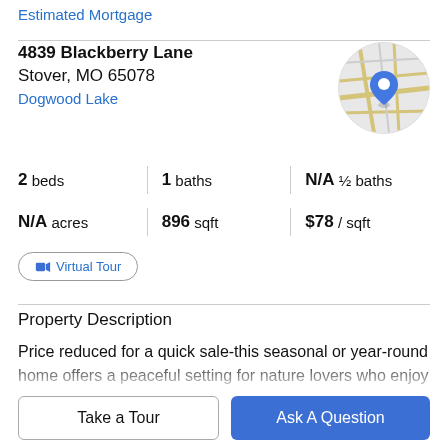Estimated Mortgage
4839 Blackberry Lane
Stover, MO 65078
Dogwood Lake
[Figure (map): Circular map thumbnail showing location pin on street map]
2 beds | 1 baths | N/A ½ baths
N/A acres | 896 sqft | $78 / sqft
Virtual Tour
Property Description
Price reduced for a quick sale-this seasonal or year-round home offers a peaceful setting for nature lovers who enjoy
walking distance of the 54,000-acre Lake of the Ozarks